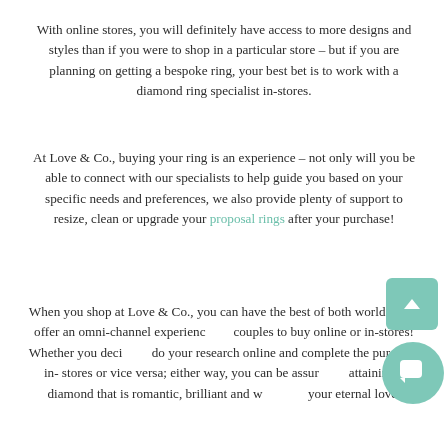With online stores, you will definitely have access to more designs and styles than if you were to shop in a particular store – but if you are planning on getting a bespoke ring, your best bet is to work with a diamond ring specialist in-stores.
At Love & Co., buying your ring is an experience – not only will you be able to connect with our specialists to help guide you based on your specific needs and preferences, we also provide plenty of support to resize, clean or upgrade your proposal rings after your purchase!
When you shop at Love & Co., you can have the best of both worlds – we offer an omni-channel experience for couples to buy online or in-stores! Whether you decide to do your research online and complete the purchase in-stores or vice versa; either way, you can be assured of attaining a diamond that is romantic, brilliant and worthy of your eternal love.